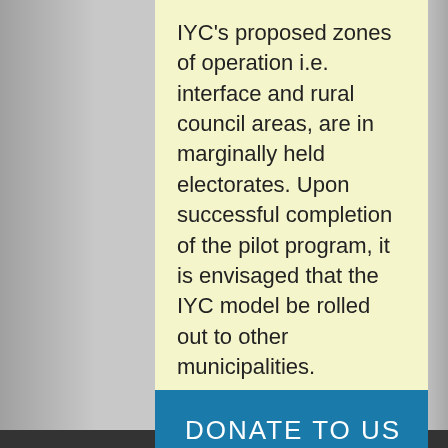IYC's proposed zones of operation i.e. interface and rural council areas, are in marginally held electorates. Upon successful completion of the pilot program, it is envisaged that the IYC model be rolled out to other municipalities.
DONATE TO US
Email us: info@iyc.org.au.    Phone us: (03) 9041 7959
Address: 1/20 Graduate Road, Bundoora, Victoria 3083
Innovation Youth Centre